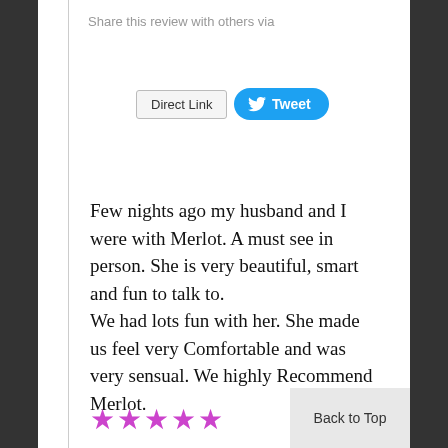Share this review with others via
[Figure (screenshot): Direct Link button and Tweet button for sharing the review]
Few nights ago my husband and I were with Merlot. A must see in person. She is very beautiful, smart and fun to talk to.
We had lots fun with her. She made us feel very Comfortable and was very sensual. We highly Recommend Merlot.
[Figure (other): Five purple star rating icons]
Back to Top